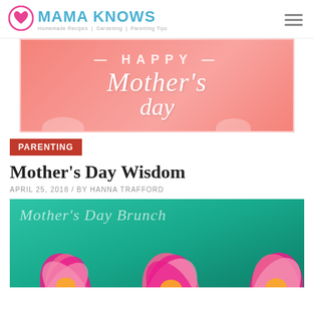MAMA KNOWS — Homemade Recipes | Gardening | Parenting Tips
[Figure (illustration): Happy Mother's Day decorative banner with pink background and white script lettering]
PARENTING
Mother's Day Wisdom
APRIL 25, 2018 / BY HANNA TRAFFORD
[Figure (illustration): Mother's Day Brunch decorative image with teal background and pink lotus flowers]